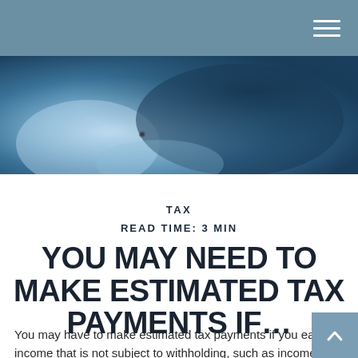[Figure (photo): Close-up photo of blue office chairs or cushioned furniture with a dark blue/teal color scheme]
TAX
READ TIME: 3 MIN
YOU MAY NEED TO MAKE ESTIMATED TAX PAYMENTS IF…
You may have to make estimated tax payments if you earn income that is not subject to withholding, such as income